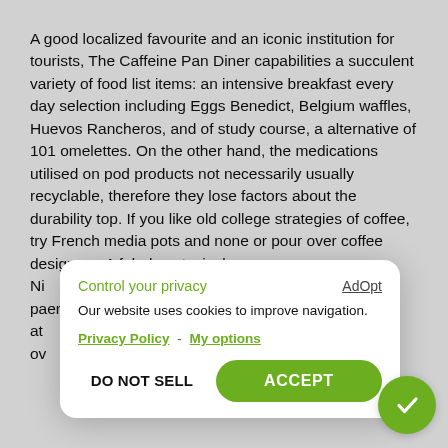A good localized favourite and an iconic institution for tourists, The Caffeine Pan Diner capabilities a succulent variety of food list items: an intensive breakfast every day selection including Eggs Benedict, Belgium waffles, Huevos Rancheros, and of study course, a alternative of 101 omelettes. On the other hand, the medications utilised on pod products not necessarily usually recyclable, therefore they lose factors about the durability top. If you like old college strategies of coffee, try French media pots and none or pour over coffee designers. A fabulous typical Ni... es... pa... at... ov...
[Figure (screenshot): Cookie consent modal dialog with title 'Control your privacy', 'AdOpt' link, body text 'Our website uses cookies to improve navigation.', links to Privacy Policy and My options, and two buttons: DO NOT SELL and ACCEPT (green pill button).]
Th... sp... stylisten.de/allgemein/purchase-in-store-centre-southerly-indian-native-espresso-separate-out-madras-kaapi-spill-dripper-or-maybe-creator-for-2/ to your entry upright. Its sugariness is complimented by a fabulous distinctive lemon or lime acid solution and pleasant cacao remarks. Volcanica: Volcanica is a